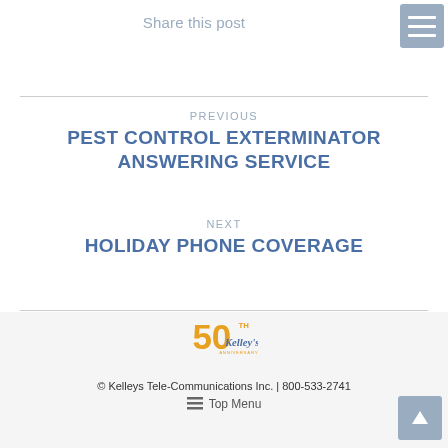Share this post
PREVIOUS
PEST CONTROL EXTERMINATOR ANSWERING SERVICE
NEXT
HOLIDAY PHONE COVERAGE
[Figure (logo): Kelley's 50th Anniversary logo in gold/yellow color]
© Kelleys Tele-Communications Inc. | 800-533-2741
Top Menu